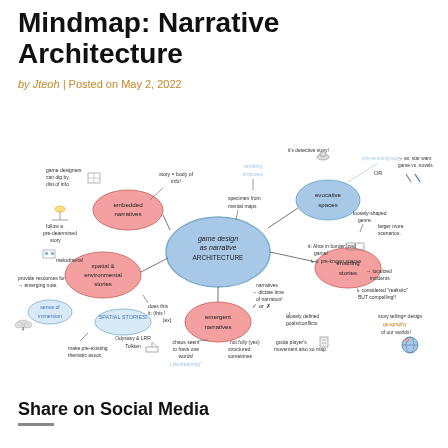Mindmap: Narrative Architecture
by Jteoh | Posted on May 2, 2022
[Figure (other): A hand-drawn mindmap about 'game design as narrative architecture' with nodes including embedded narratives, spatial & environmental stories, emergent narratives, evocative spaces, enacting stories, and various sub-notes about game design concepts.]
Share on Social Media